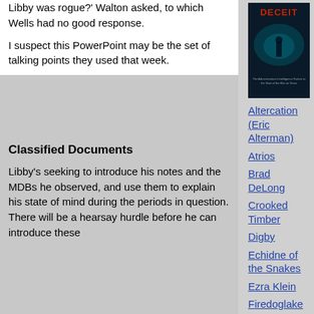Libby was rogue?' Walton asked, to which Wells had no good response.
I suspect this PowerPoint may be the set of talking points they used that week.
Classified Documents
Libby's seeking to introduce his notes and the MDBs he observed, and use them to explain his state of mind during the periods in question. There will be a hearsay hurdle before he can introduce these
[Figure (photo): Book cover for 'DECEIT' - dark teal/black cover with a figure silhouette and red title text]
Altercation (Eric Alterman)
Atrios
Brad DeLong
Crooked Timber
Digby
Echidne of the Snakes
Ezra Klein
Firedoglake
Flu Wiki
Juan Cole
Left Coaster
MaxSpeak
My Left Wing
MyDD
Pandagon
Steve Gilliard's News Blog